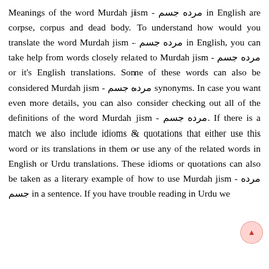Meanings of the word Murdah jism - مرده جسم in English are corpse, corpus and dead body. To understand how would you translate the word Murdah jism - مرده جسم in English, you can take help from words closely related to Murdah jism - مرده جسم or it's English translations. Some of these words can also be considered Murdah jism - مرده جسم synonyms. In case you want even more details, you can also consider checking out all of the definitions of the word Murdah jism - مرده جسم. If there is a match we also include idioms & quotations that either use this word or its translations in them or use any of the related words in English or Urdu translations. These idioms or quotations can also be taken as a literary example of how to use Murdah jism - مرده جسم in a sentence. If you have trouble reading in Urdu we